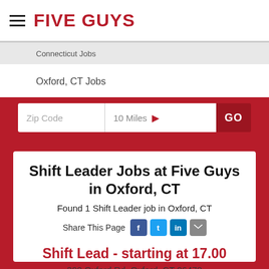FIVE GUYS
Connecticut Jobs
Oxford, CT Jobs
Zip Code  10 Miles  GO
Shift Leader Jobs at Five Guys in Oxford, CT
Found 1 Shift Leader job in Oxford, CT
Share This Page
Shift Lead - starting at 17.00
300 Oxford Rd, Oxford, CT 06478
Apply Now!